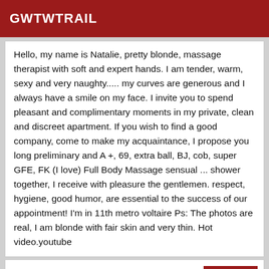GWTWTRAIL
Hello, my name is Natalie, pretty blonde, massage therapist with soft and expert hands. I am tender, warm, sexy and very naughty..... my curves are generous and I always have a smile on my face. I invite you to spend pleasant and complimentary moments in my private, clean and discreet apartment. If you wish to find a good company, come to make my acquaintance, I propose you long preliminary and A +, 69, extra ball, BJ, cob, super GFE, FK (I love) Full Body Massage sensual ... shower together, I receive with pleasure the gentlemen. respect, hygiene, good humor, are essential to the success of our appointment! I'm in 11th metro voltaire Ps: The photos are real, I am blonde with fair skin and very thin. Hot video.youtube
Verified